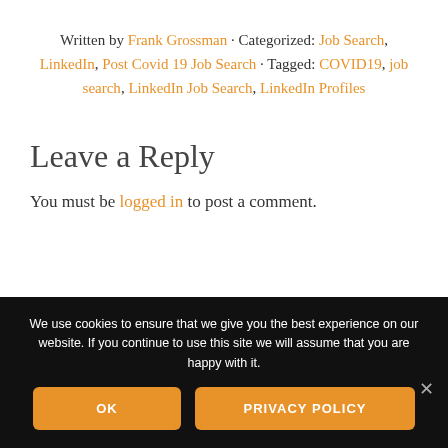Written by Frank Grossman · Categorized: Job Search, LinkedIn, Post Covid 19 Job Search · Tagged: COVID19, job search, LinkedIn Job Search, LinkedIn Profiles
Leave a Reply
You must be logged in to post a comment.
We use cookies to ensure that we give you the best experience on our website. If you continue to use this site we will assume that you are happy with it.